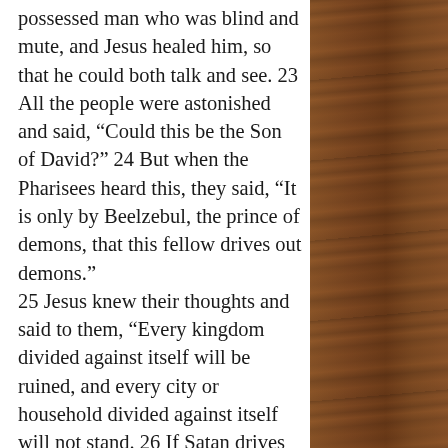possessed man who was blind and mute, and Jesus healed him, so that he could both talk and see. 23 All the people were astonished and said, “Could this be the Son of David?” 24 But when the Pharisees heard this, they said, “It is only by Beelzebul, the prince of demons, that this fellow drives out demons.” 25 Jesus knew their thoughts and said to them, “Every kingdom divided against itself will be ruined, and every city or household divided against itself will not stand. 26 If Satan drives out Satan, he is divided against himself. How then can his kingdom stand? 27 And if I drive out demons by Beelzebul, by whom do your people drive them out? So then, they will be your judges...